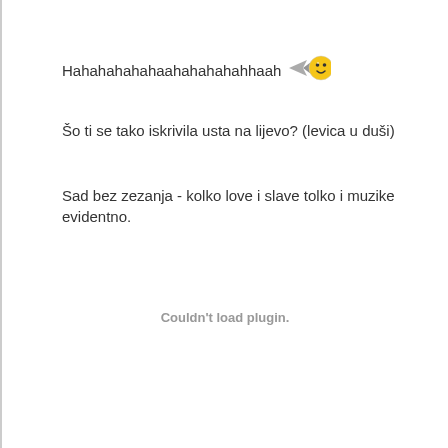Hahahahahahaahahahahahhaah 🐝😊
Šo ti se tako iskrivila usta na lijevo? (levica u duši)
Sad bez zezanja - kolko love i slave tolko i muzike evidentno.
Couldn't load plugin.